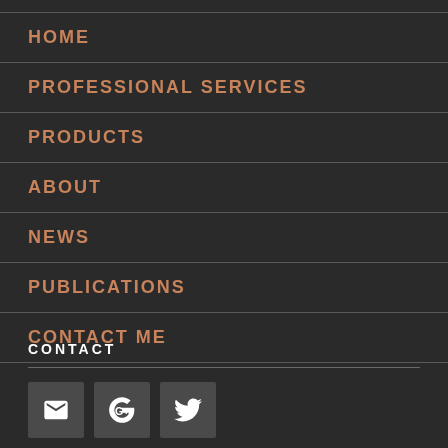HOME
PROFESSIONAL SERVICES
PRODUCTS
ABOUT
NEWS
PUBLICATIONS
CONTACT ME
CONTACT
[Figure (illustration): Three social media icon buttons: email (envelope), Google+ (G+), Twitter (bird)]